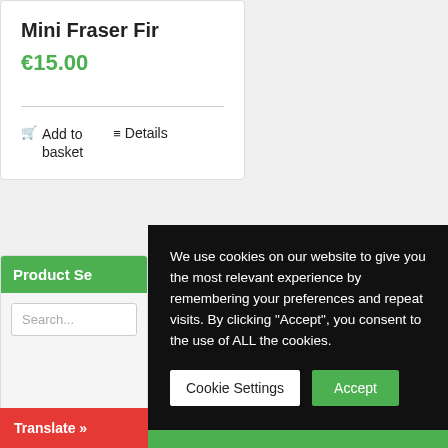Mini Fraser Fir
€15.00
Add to basket
Details
Product Se...
Search...
We use cookies on our website to give you the most relevant experience by remembering your preferences and repeat visits. By clicking "Accept", you consent to the use of ALL the cookies.
Cookie Settings
Accept
Translate »